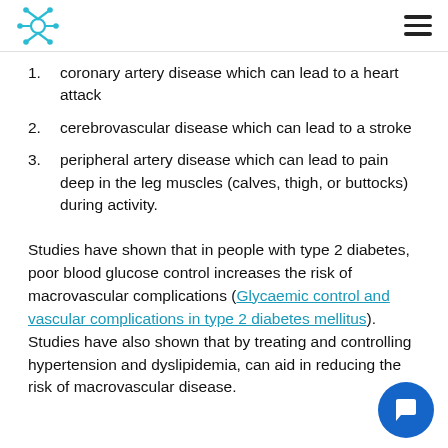[Logo] [Hamburger menu]
1. coronary artery disease which can lead to a heart attack
2. cerebrovascular disease which can lead to a stroke
3. peripheral artery disease which can lead to pain deep in the leg muscles (calves, thigh, or buttocks) during activity.
Studies have shown that in people with type 2 diabetes, poor blood glucose control increases the risk of macrovascular complications (Glycaemic control and vascular complications in type 2 diabetes mellitus). Studies have also shown that by treating and controlling hypertension and dyslipidemia, can aid in reducing the risk of macrovascular disease.